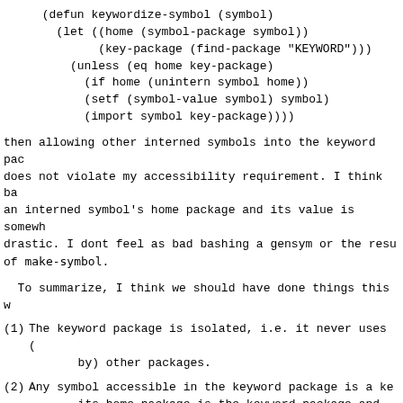then allowing other interned symbols into the keyword package does not violate my accessibility requirement. I think bashing an interned symbol's home package and its value is somewhat drastic. I dont feel as bad bashing a gensym or the result of make-symbol.
To summarize, I think we should have done things this way:
(1) The keyword package is isolated, i.e. it never uses (or is used by) other packages.
(2) Any symbol accessible in the keyword package is a keyword, i.e. its home package is the keyword package and its value is itself.
(3) Symbols only become accessible in the keyword package by interning.
It is unclear to me why anyone would want to import a symbol that is homed someplace else into the keyword package. My only requirement is that any symbols accessible in the keyword package be keywords. I really dont like the problems which come up with reading, especially given that reading :KEYWORD should produce a keyword. If a symbol is accessible in the keyword package but not homed in the